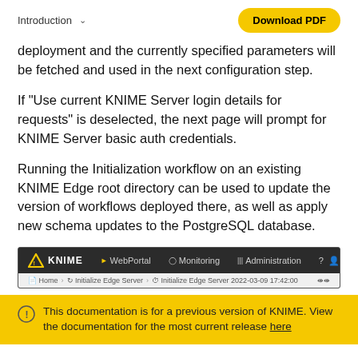Introduction  ∨    Download PDF
deployment and the currently specified parameters will be fetched and used in the next configuration step.
If "Use current KNIME Server login details for requests" is deselected, the next page will prompt for KNIME Server basic auth credentials.
Running the Initialization workflow on an existing KNIME Edge root directory can be used to update the version of workflows deployed there, as well as apply new schema updates to the PostgreSQL database.
[Figure (screenshot): KNIME web interface navigation bar showing WebPortal, Monitoring, Administration menu items, and a breadcrumb path: Home > Initialize Edge Server > Initialize Edge Server 2022-03-09 17:42:00]
This documentation is for a previous version of KNIME. View the documentation for the most current release here